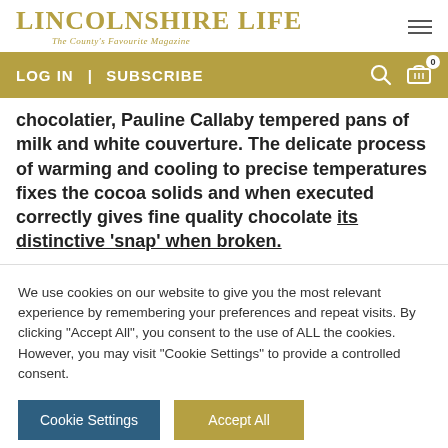LINCOLNSHIRE LIFE — The County's Favourite Magazine
LOG IN  |  SUBSCRIBE
chocolatier, Pauline Callaby tempered pans of milk and white couverture. The delicate process of warming and cooling to precise temperatures fixes the cocoa solids and when executed correctly gives fine quality chocolate its distinctive 'snap' when broken.
We use cookies on our website to give you the most relevant experience by remembering your preferences and repeat visits. By clicking "Accept All", you consent to the use of ALL the cookies. However, you may visit "Cookie Settings" to provide a controlled consent.
Cookie Settings
Accept All